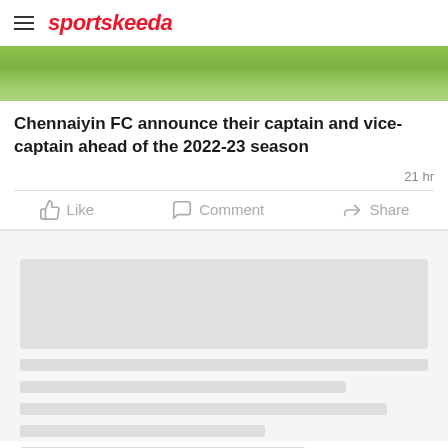sportskeeda
[Figure (photo): Green grass football pitch surface shown from above, cropped image]
Chennaiyin FC announce their captain and vice-captain ahead of the 2022-23 season
21 hr
Like  Comment  Share